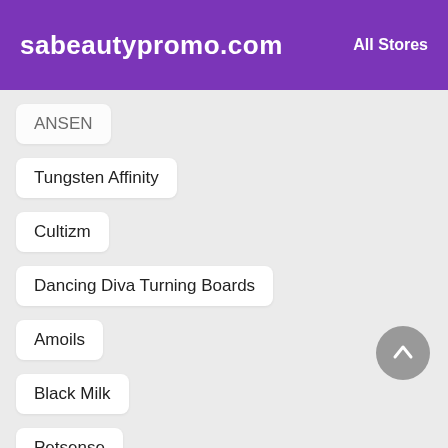sabeautypromo.com   All Stores
ANSEN (partially visible)
Tungsten Affinity
Cultizm
Dancing Diva Turning Boards
Amoils
Black Milk
Petsense
Christian Book
Odd Molly